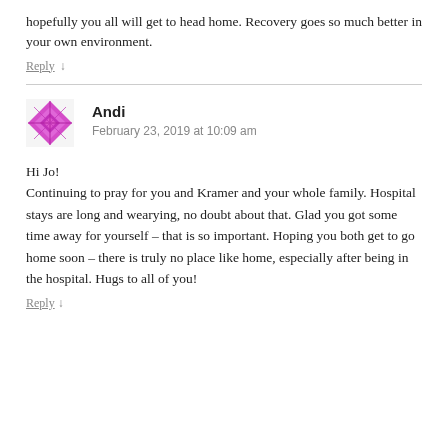hopefully you all will get to head home. Recovery goes so much better in your own environment.
Reply ↓
Andi
February 23, 2019 at 10:09 am
Hi Jo!
Continuing to pray for you and Kramer and your whole family. Hospital stays are long and wearying, no doubt about that. Glad you got some time away for yourself – that is so important. Hoping you both get to go home soon – there is truly no place like home, especially after being in the hospital. Hugs to all of you!
Reply ↓